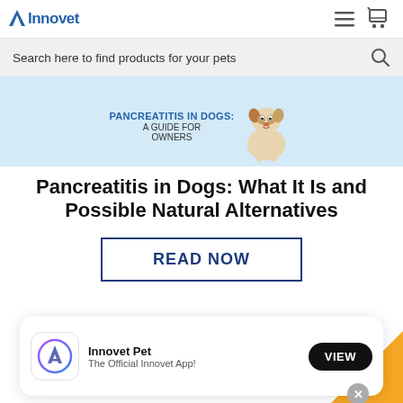[Figure (logo): Innovet logo with triangular icon and blue text]
[Figure (screenshot): Search bar with text: Search here to find products for your pets, and a search icon]
[Figure (illustration): Light blue banner with dog illustration and text: PANCREATITIS IN DOGS: A GUIDE FOR OWNERS]
Pancreatitis in Dogs: What It Is and Possible Natural Alternatives
[Figure (other): READ NOW button with dark blue border]
[Figure (screenshot): App install banner: Innovet Pet - The Official Innovet App! with VIEW button and app store icon]